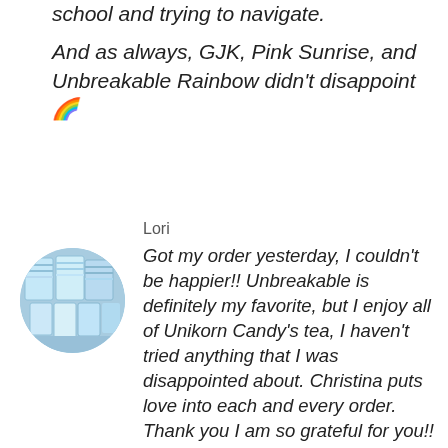school and trying to navigate.

And as always, GJK, Pink Sunrise, and Unbreakable Rainbow didn't disappoint 🌈
Lori
[Figure (photo): Circular avatar photo showing packages of Unikorn Candy tea products arranged together, with holographic/iridescent packaging visible.]
Got my order yesterday, I couldn't be happier!! Unbreakable is definitely my favorite, but I enjoy all of Unikorn Candy's tea, I haven't tried anything that I was disappointed about. Christina puts love into each and every order. Thank you I am so grateful for you!! I will not buy from anyone else, period.